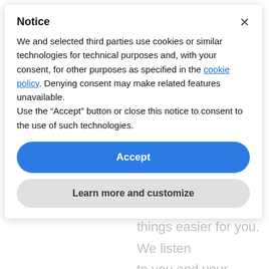Notice
We and selected third parties use cookies or similar technologies for technical purposes and, with your consent, for other purposes as specified in the cookie policy. Denying consent may make related features unavailable.
Use the “Accept” button or close this notice to consent to the use of such technologies.
Accept
Learn more and customize
Developer key
A developer key (or API key) is used to identify you as a developer or a company developing apps. The developer key is required to generate access tokens.
Generate your developer key »
Endpoint